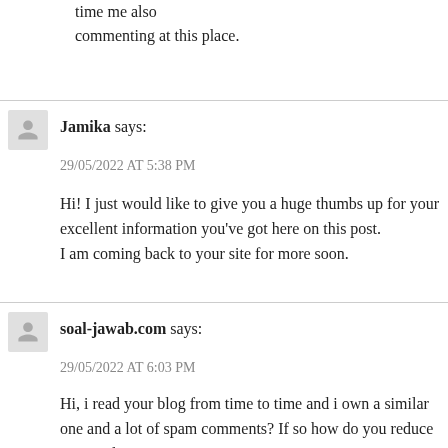time me also
commenting at this place.
Jamika says:
29/05/2022 AT 5:38 PM
Hi! I just would like to give you a huge thumbs up for your excellent information you've got here on this post.
I am coming back to your site for more soon.
soal-jawab.com says:
29/05/2022 AT 6:03 PM
Hi, i read your blog from time to time and i own a similar one and a lot of spam comments? If so how do you reduce it, any plugin
I get so much lately it's driving me crazy so any help is very muc